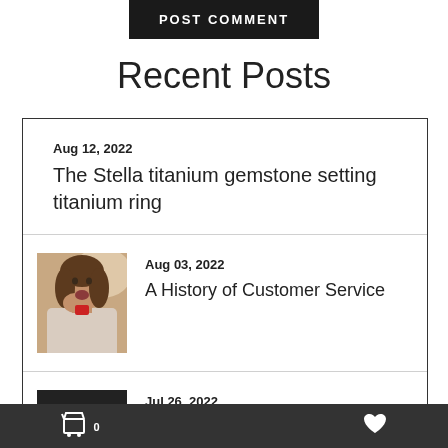POST COMMENT
Recent Posts
Aug 12, 2022
The Stella titanium gemstone setting titanium ring
[Figure (photo): Woman looking surprised holding a small ring box]
Aug 03, 2022
A History of Customer Service
[Figure (photo): Black and white photo of hands holding an engagement ring]
Jul 26, 2022
Minimalist Wedding & Engagement
0  ♥